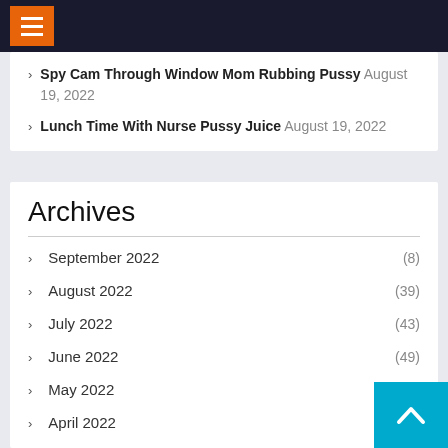Navigation menu header bar
Spy Cam Through Window Mom Rubbing Pussy August 19, 2022
Lunch Time With Nurse Pussy Juice August 19, 2022
Archives
September 2022 (8)
August 2022 (39)
July 2022 (43)
June 2022 (49)
May 2022 (164)
April 2022 (3…)
March 2022 (32)